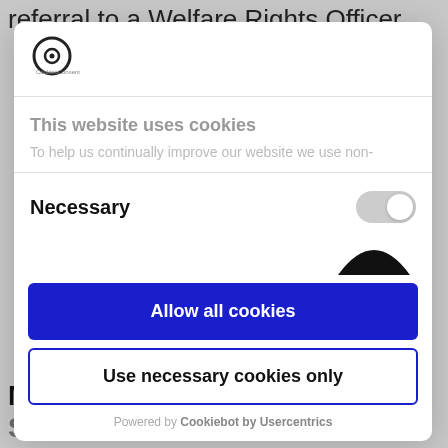referral to a Welfare Rights Officer.
[Figure (logo): Cookiebot/CookiesConsent logo — circular icon with dot in center and small text beneath]
This website uses cookies
To help us continually improve our website we use non-
Necessary
Allow all cookies
Use necessary cookies only
Powered by Cookiebot by Usercentrics